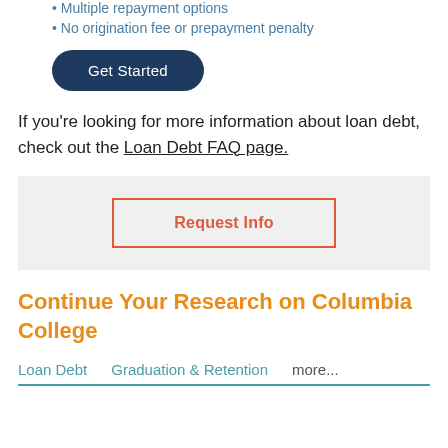Multiple repayment options
No origination fee or prepayment penalty
Get Started
If you're looking for more information about loan debt, check out the Loan Debt FAQ page.
Request Info
Continue Your Research on Columbia College
Loan Debt   Graduation & Retention   more...